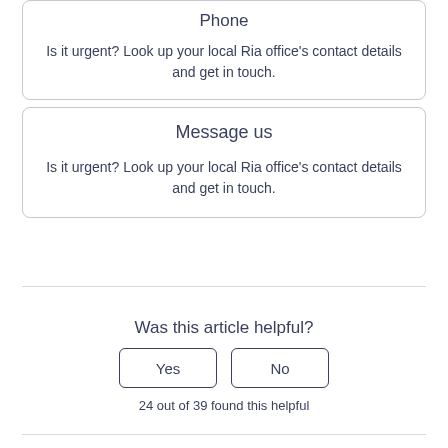Phone
Is it urgent? Look up your local Ria office's contact details and get in touch.
Message us
Is it urgent? Look up your local Ria office's contact details and get in touch.
Was this article helpful?
Yes
No
24 out of 39 found this helpful